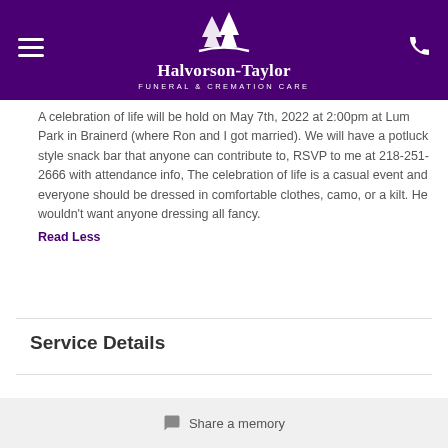[Figure (logo): Halvorson-Taylor Funeral & Cremation Care logo with pine tree illustration on purple background]
A celebration of life will be hold on May 7th, 2022 at 2:00pm at Lum Park in Brainerd (where Ron and I got married). We will have a potluck style snack bar that anyone can contribute to, RSVP to me at 218-251-2666 with attendance info, The celebration of life is a casual event and everyone should be dressed in comfortable clothes, camo, or a kilt. He wouldn't want anyone dressing all fancy.
Read Less
Service Details
Share a memory